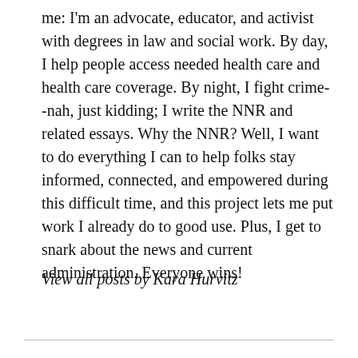me: I'm an advocate, educator, and activist with degrees in law and social work. By day, I help people access needed health care and health care coverage. By night, I fight crime--nah, just kidding; I write the NNR and related essays. Why the NNR? Well, I want to do everything I can to help folks stay informed, connected, and empowered during this difficult time, and this project lets me put work I already do to good use. Plus, I get to snark about the news and current administration. Everyone wins!
View all posts by Kara Hurvitz